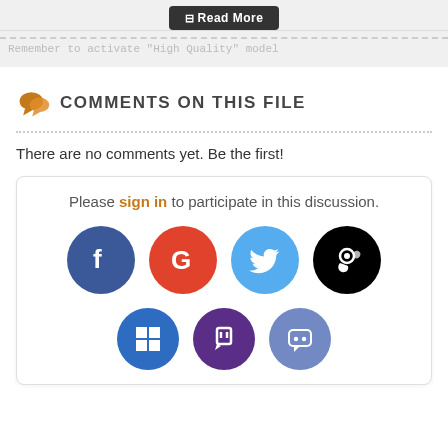[Figure (screenshot): Read More button (dark rounded rectangle) at top of page]
Remember to activate &quot;High Quality&quot; model
COMMENTS ON THIS FILE
There are no comments yet. Be the first!
Please sign in to participate in this discussion.
[Figure (illustration): Social login icons: Facebook, Google, Twitter, Steam in first row; Windows, Twitch, Discord in second row]